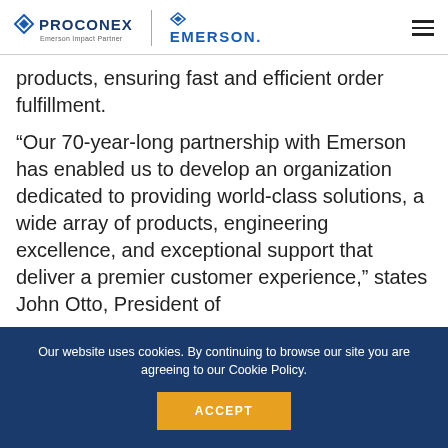PROCONEX Emerson Impact Partner | EMERSON
products, ensuring fast and efficient order fulfillment.
“Our 70-year-long partnership with Emerson has enabled us to develop an organization dedicated to providing world-class solutions, a wide array of products, engineering excellence, and exceptional support that deliver a premier customer experience,” states John Otto, President of
Our website uses cookies. By continuing to browse our site you are agreeing to our Cookie Policy.